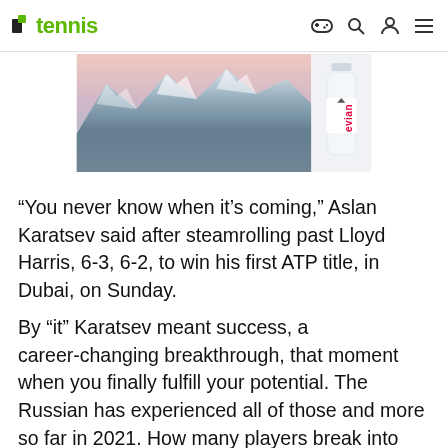tennis
[Figure (photo): Evian advertisement showing snowy mountain landscape with an Evian water bottle on the right side]
“You never know when it’s coming,” Aslan Karatsev said after steamrolling past Lloyd Harris, 6-3, 6-2, to win his first ATP title, in Dubai, on Sunday.
By “it” Karatsev meant success, a career-changing breakthrough, that moment when you finally fulfill your potential. The Russian has experienced all of those and more so far in 2021. How many players break into the Top 100 and the Top 50 on the same